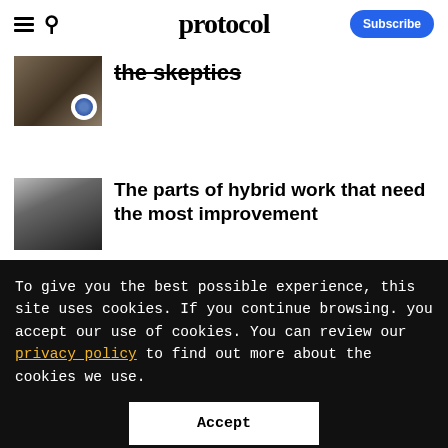protocol
the skeptics
[Figure (screenshot): Thumbnail image for article about the skeptics, showing an auditorium/lecture hall scene with a circular overlay icon]
The parts of hybrid work that need the most improvement
[Figure (photo): Thumbnail showing a person working on a laptop in a hybrid work setting]
To give you the best possible experience, this site uses cookies. If you continue browsing. you accept our use of cookies. You can review our privacy policy to find out more about the cookies we use.
Accept